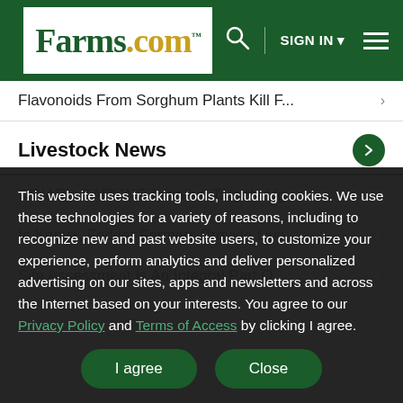Farms.com | SIGN IN | navigation menu
Flavonoids From Sorghum Plants Kill F... ›
Livestock News
CGIAR's SAPLING Initiative Targets Ug... ›
In Kenya, Fodder Farmers Provide Live... ›
Site Assessment Is An Integral Part O... ›
This website uses tracking tools, including cookies. We use these technologies for a variety of reasons, including to recognize new and past website users, to customize your experience, perform analytics and deliver personalized advertising on our sites, apps and newsletters and across the Internet based on your interests. You agree to our Privacy Policy and Terms of Access by clicking I agree.